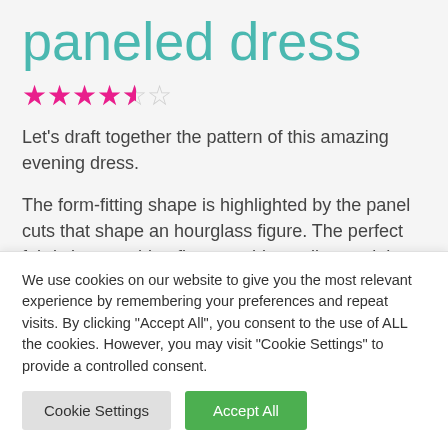paneled dress
[Figure (other): 4.5 star rating shown in pink/magenta stars]
Let's draft together the pattern of this amazing evening dress.
The form-fitting shape is highlighted by the panel cuts that shape an hourglass figure. The perfect fabric is something flowy as this medium weight satin, or crepe
We use cookies on our website to give you the most relevant experience by remembering your preferences and repeat visits. By clicking "Accept All", you consent to the use of ALL the cookies. However, you may visit "Cookie Settings" to provide a controlled consent.
Cookie Settings | Accept All